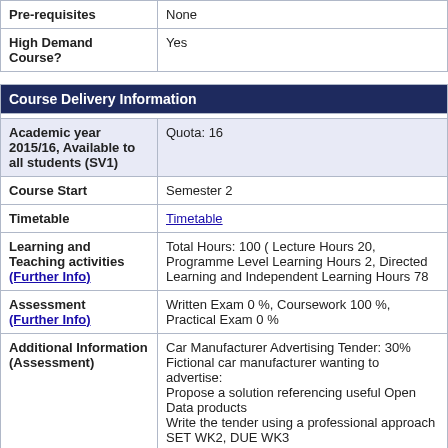|  |  |
| --- | --- |
| Pre-requisites | None |
| High Demand Course? | Yes |
| Course Delivery Information |  |
| --- | --- |
| Academic year 2015/16, Available to all students (SV1) | Quota:  16 |
| Course Start | Semester 2 |
| Timetable | Timetable |
| Learning and Teaching activities (Further Info) | Total Hours: 100 ( Lecture Hours 20, Programme Level Learning Hours 2, Directed Learning and Independent Learning Hours 78 |
| Assessment (Further Info) | Written Exam 0 %, Coursework 100 %, Practical Exam 0 % |
| Additional Information (Assessment) | Car Manufacturer Advertising Tender: 30%
Fictional car manufacturer wanting to advertise:
Propose a solution referencing useful Open Data products
Write the tender using a professional approach
SET WK2, DUE WK3 |